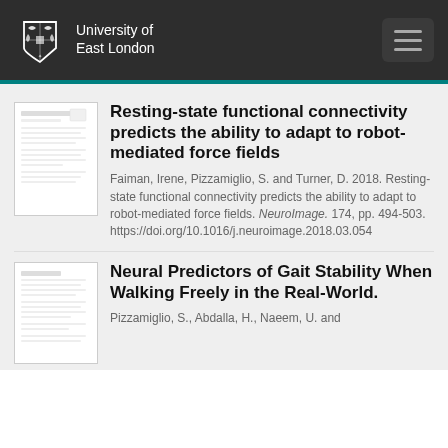University of East London
Resting-state functional connectivity predicts the ability to adapt to robot-mediated force fields
Faiman, Irene, Pizzamiglio, S. and Turner, D. 2018. Resting-state functional connectivity predicts the ability to adapt to robot-mediated force fields. NeuroImage. 174, pp. 494-503. https://doi.org/10.1016/j.neuroimage.2018.03.054
Neural Predictors of Gait Stability When Walking Freely in the Real-World.
Pizzamiglio, S., Abdalla, H., Naeem, U. and